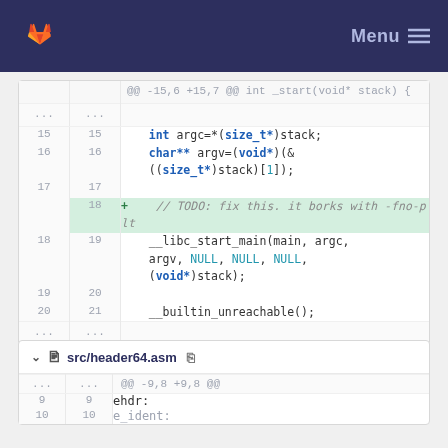GitLab — Menu
[Figure (screenshot): GitLab diff view showing changes to a C source file. Lines 15-21 shown with a new line 18 added containing a TODO comment about -fno-plt. Code includes int argc, char** argv, __libc_start_main call with NULL arguments, and __builtin_unreachable().]
src/header64.asm
[Figure (screenshot): GitLab diff view for src/header64.asm showing hunk @@ -9,8 +9,8 @@ with lines 9 and 10, ehdr: label visible]